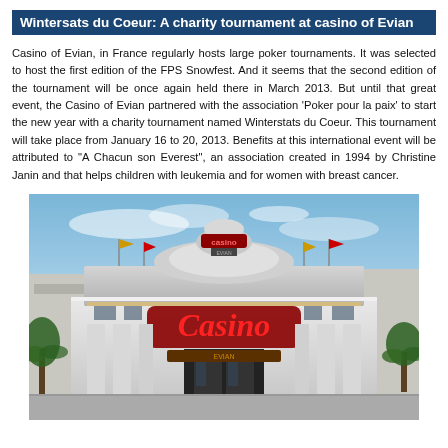Wintersats du Coeur: A charity tournament at casino of Evian
Casino of Evian, in France regularly hosts large poker tournaments. It was selected to host the first edition of the FPS Snowfest. And it seems that the second edition of the tournament will be once again held there in March 2013. But until that great event, the Casino of Evian partnered with the association 'Poker pour la paix' to start the new year with a charity tournament named Winterstats du Coeur. This tournament will take place from January 16 to 20, 2013. Benefits at this international event will be attributed to "A Chacun son Everest", an association created in 1994 by Christine Janin and that helps children with leukemia and for women with breast cancer.
[Figure (photo): Exterior photograph of the Casino of Evian building, showing its ornate white facade with large red 'Casino' signage, flanked by flags and palm trees in the foreground, under a blue sky.]